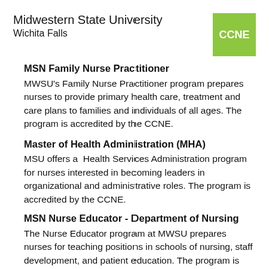Midwestern State University
Wichita Falls
MSN Family Nurse Practitioner
MWSU's Family Nurse Practitioner program prepares nurses to provide primary health care, treatment and care plans to families and individuals of all ages. The program is accredited by the CCNE.
Master of Health Administration (MHA)
MSU offers a Health Services Administration program for nurses interested in becoming leaders in organizational and administrative roles. The program is accredited by the CCNE.
MSN Nurse Educator - Department of Nursing
The Nurse Educator program at MWSU prepares nurses for teaching positions in schools of nursing, staff development, and patient education. The program is accredited by the...